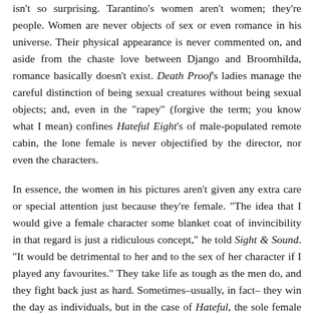isn't so surprising. Tarantino's women aren't women; they're people. Women are never objects of sex or even romance in his universe. Their physical appearance is never commented on, and aside from the chaste love between Django and Broomhilda, romance basically doesn't exist. Death Proof's ladies manage the careful distinction of being sexual creatures without being sexual objects; and, even in the "rapey" (forgive the term; you know what I mean) confines Hateful Eight's of male-populated remote cabin, the lone female is never objectified by the director, nor even the characters.
In essence, the women in his pictures aren't given any extra care or special attention just because they're female. "The idea that I would give a female character some blanket coat of invincibility in that regard is just a ridiculous concept," he told Sight & Sound. "It would be detrimental to her and to the sex of her character if I played any favourites." They take life as tough as the men do, and they fight back just as hard. Sometimes–usually, in fact– they win the day as individuals, but in the case of Hateful, the sole female character doesn't. Why?
Because Tarantino's turning a mirror on us as a country with Hateful